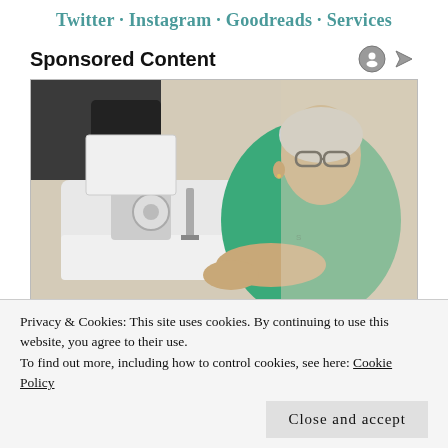Twitter · Instagram · Goodreads · Services
Sponsored Content
[Figure (photo): Elderly woman with grey hair and glasses wearing a green t-shirt, working at a sewing machine indoors.]
Privacy & Cookies: This site uses cookies. By continuing to use this website, you agree to their use.
To find out more, including how to control cookies, see here: Cookie Policy
Close and accept